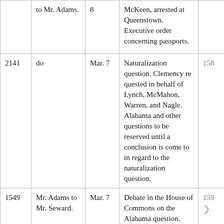| No. | From/To | Date | Subject | Page |
| --- | --- | --- | --- | --- |
|  | to Mr. Adams. | 8 | McKeen, arrested at Queenstown. Executive order concerning passports. |  |
| 2141 | do | Mar. 7 | Naturalization question. Clemency re quested in behalf of Lynch, McMahon, Warren, and Nagle. Alabama and other questions to be reserved until a conclusion is come to in regard to the naturalization question. | 158 |
| 1549 | Mr. Adams to Mr. Seward. | Mar. 7 | Debate in the House of Commons on the Alabama question. | 159 |
| 1551 | do | Mar. 11 | Debate in the House of Commons upon the state of Ireland. | 173 |
| 1552 | Mr. Adams | Mar. | Assistance rendered by | 174 |